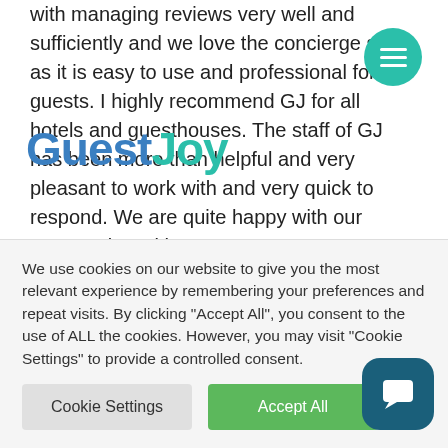with managing reviews very well and sufficiently and we love the concierge site as it is easy to use and professional for our guests. I highly recommend GJ for all hotels and guesthouses. The staff of GJ has been more than helpful and very pleasant to work with and very quick to respond. We are quite happy with our cooperation with GJ.
[Figure (logo): GuestJoy logo in blue and teal]
“I highly recommend GJ for all hotels and guesthouses
We use cookies on our website to give you the most relevant experience by remembering your preferences and repeat visits. By clicking “Accept All”, you consent to the use of ALL the cookies. However, you may visit "Cookie Settings" to provide a controlled consent.
Cookie Settings
Accept All